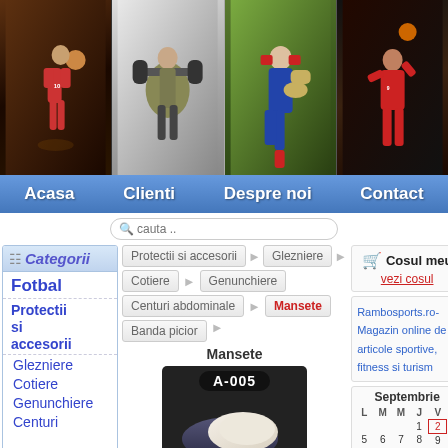[Figure (photo): Header banner with four sports photos: basketball player running, athlete weightlifting, rugby player with ball, basketball player shooting]
Acasa | Clienti | Despre noi | Contact
cauta ..
Categorii
Fotbal
Protectii si accesorii
Glezniere
Cotiere
Genunchiere
Centuri
Protectii si accesorii > Glezniere
Cotiere  Genunchiere
Centuri abdominale  Mansete
Banda picior
Cosul meu
vezi cosul
Rambosports.ro- Magazin online de articole sportive, fitness si turism
Mansete
[Figure (photo): Product photo showing a wrist/ankle support brace labeled A-005]
| L | M | M | J | V | S |
| --- | --- | --- | --- | --- | --- |
|  |  |  | 1 | 2 | 3 |
| 5 | 6 | 7 | 8 | 9 | 1 |
| 12 | 13 | 14 | 15 | 16 | 1 |
| 19 | 20 | 21 | 22 | 23 | 2 |
| 26 | 27 | 28 | 29 | 30 |  |